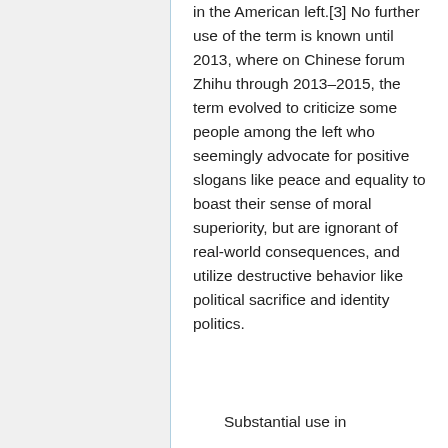in the American left.[3] No further use of the term is known until 2013, where on Chinese forum Zhihu through 2013–2015, the term evolved to criticize some people among the left who seemingly advocate for positive slogans like peace and equality to boast their sense of moral superiority, but are ignorant of real-world consequences, and utilize destructive behavior like political sacrifice and identity politics.
Substantial use in